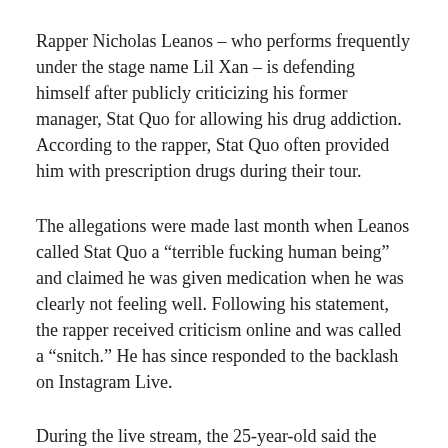Rapper Nicholas Leanos – who performs frequently under the stage name Lil Xan – is defending himself after publicly criticizing his former manager, Stat Quo for allowing his drug addiction. According to the rapper, Stat Quo often provided him with prescription drugs during their tour.
The allegations were made last month when Leanos called Stat Quo a “terrible fucking human being” and claimed he was given medication when he was clearly not feeling well. Following his statement, the rapper received criticism online and was called a “snitch.” He has since responded to the backlash on Instagram Live.
During the live stream, the 25-year-old said the comments he received were both positive and negative. “It’s like half of them are like, ‘Yo, thank goodness you’re spreading the word. And the other half is, ‘Oh, you’re a snitch now bro. He